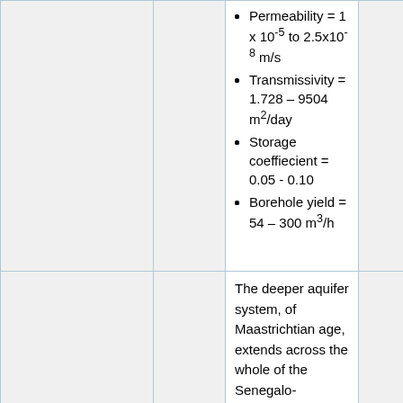Permeability = 1 x 10-5 to 2.5x10-8 m/s
Transmissivity = 1.728 – 9504 m²/day
Storage coeffiecient = 0.05 - 0.10
Borehole yield = 54 – 300 m³/h
The deeper aquifer system, of Maastrichtian age, extends across the whole of the Senegalo-Mauritanian basin and generally